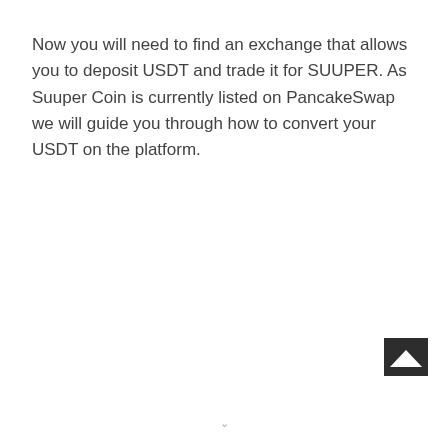Now you will need to find an exchange that allows you to deposit USDT and trade it for SUUPER. As Suuper Coin is currently listed on PancakeSwap we will guide you through how to convert your USDT on the platform.
[Figure (other): Small dark square icon with a white mountain/chevron shape (like a back-to-top arrow) in the bottom-right corner of the page]